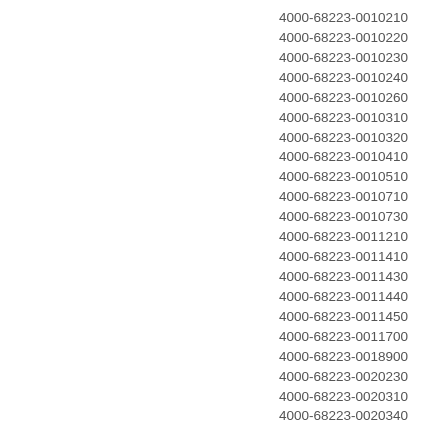4000-68223-0010210
4000-68223-0010220
4000-68223-0010230
4000-68223-0010240
4000-68223-0010260
4000-68223-0010310
4000-68223-0010320
4000-68223-0010410
4000-68223-0010510
4000-68223-0010710
4000-68223-0010730
4000-68223-0011210
4000-68223-0011410
4000-68223-0011430
4000-68223-0011440
4000-68223-0011450
4000-68223-0011700
4000-68223-0018900
4000-68223-0020230
4000-68223-0020310
4000-68223-0020340